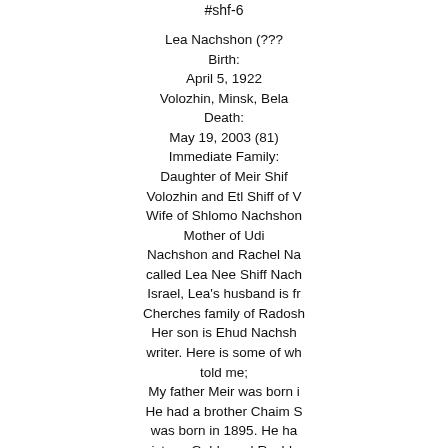#shf-6
Lea Nachshon (???
Birth:
April 5, 1922
Volozhin, Minsk, Bela
Death:
May 19, 2003 (81)
Immediate Family:
Daughter of Meir Shif
Volozhin and Etl Shiff of V
Wife of Shlomo Nachshon
Mother of Udi
Nachshon and Rachel Na
called Lea Nee Shiff Nach
Israel, Lea's husband is fr
Cherches family of Radosh
Her son is Ehud Nachsh
writer. Here is some of wh
told me;
My father Meir was born i
He had a brother Chaim S
was born in 1895. He ha
sisters; Golda and Rashka
were also some years yo
ther by. My father was f